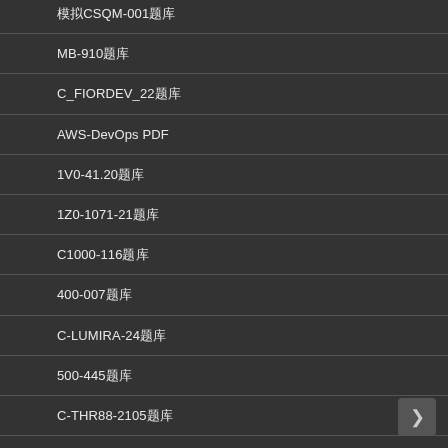模拟CSQM-001题库
MB-910题库
C_FIORDEV_22题库
AWS-DevOps PDF
1V0-41.20题库
1Z0-1071-21题库
C1000-116题库
400-007题库
C-LUMIRA-24题库
500-445题库
C-THR88-2105题库